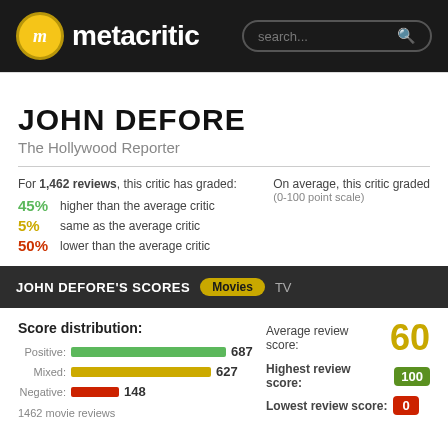metacritic search...
JOHN DEFORE
The Hollywood Reporter
For 1,462 reviews, this critic has graded:
45% higher than the average critic
5% same as the average critic
50% lower than the average critic
On average, this critic graded
(0-100 point scale)
JOHN DEFORE'S SCORES   Movies   TV
Score distribution:
Positive: 687
Mixed: 627
Negative: 148
Average review score: 60
Highest review score: 100
Lowest review score: 0
1462 movie reviews